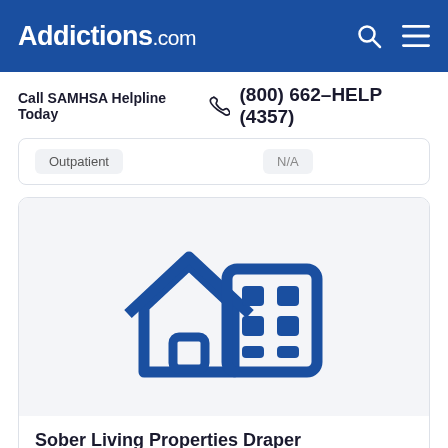Addictions.com
Call SAMHSA Helpline Today  (800) 662-HELP (4357)
Outpatient    N/A
[Figure (illustration): Blue icon of a house and a building representing sober living / residential facilities]
Sober Living Properties Draper